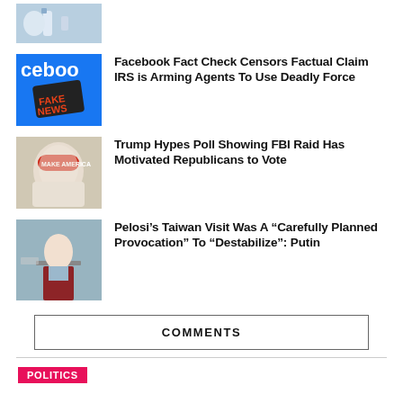[Figure (photo): Thumbnail image of electric vehicle charger]
[Figure (photo): Thumbnail of Facebook logo with 'Fake News' sign]
Facebook Fact Check Censors Factual Claim IRS is Arming Agents To Use Deadly Force
[Figure (photo): Thumbnail of Trump in red cap]
Trump Hypes Poll Showing FBI Raid Has Motivated Republicans to Vote
[Figure (photo): Thumbnail of Pelosi at podium]
Pelosi’s Taiwan Visit Was A “Carefully Planned Provocation” To “Destabilize”: Putin
COMMENTS
POLITICS